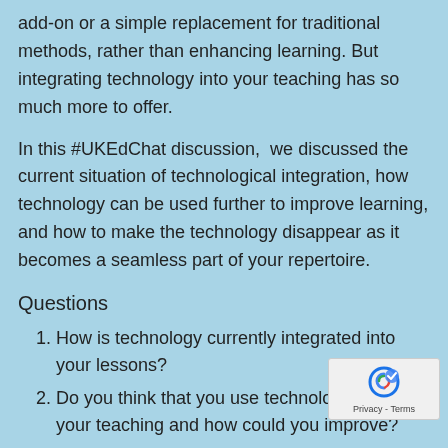add-on or a simple replacement for traditional methods, rather than enhancing learning. But integrating technology into your teaching has so much more to offer.
In this #UKEdChat discussion, we discussed the current situation of technological integration, how technology can be used further to improve learning, and how to make the technology disappear as it becomes a seamless part of your repertoire.
Questions
How is technology currently integrated into your lessons?
Do you think that you use technology well in your teaching and how could you improve?
Do you believe edtech has fulfilled its potential and is it worth the investment?